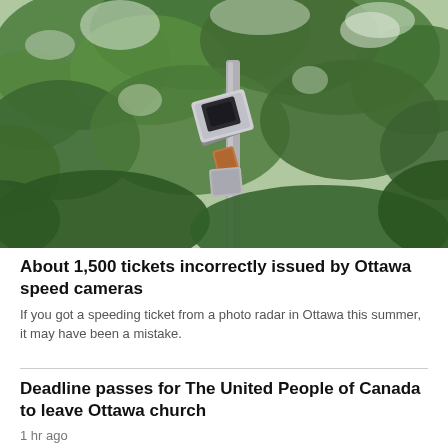[Figure (photo): A traffic speed camera mounted on a pole photographed from below against a backdrop of green trees and cloudy sky. The camera is a grey box-shaped device with a cylindrical lens pointing down toward the road.]
About 1,500 tickets incorrectly issued by Ottawa speed cameras
If you got a speeding ticket from a photo radar in Ottawa this summer, it may have been a mistake.
Deadline passes for The United People of Canada to leave Ottawa church
1 hr ago